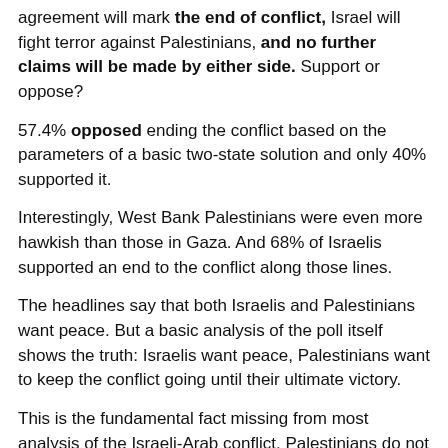agreement will mark the end of conflict, Israel will fight terror against Palestinians, and no further claims will be made by either side. Support or oppose?
57.4% opposed ending the conflict based on the parameters of a basic two-state solution and only 40% supported it.
Interestingly, West Bank Palestinians were even more hawkish than those in Gaza. And 68% of Israelis supported an end to the conflict along those lines.
The headlines say that both Israelis and Palestinians want peace. But a basic analysis of the poll itself shows the truth: Israelis want peace, Palestinians want to keep the conflict going until their ultimate victory.
This is the fundamental fact missing from most analysis of the Israeli-Arab conflict. Palestinians do not want a real, permanent peace, only to grab what they can to stage the next phase of their goal to destroy Israel.